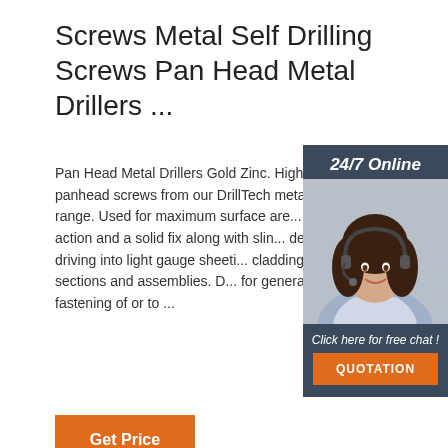Screws Metal Self Drilling Screws Pan Head Metal Drillers ...
Pan Head Metal Drillers Gold Zinc. High performance panhead screws from our DrillTech metal self drilling screw range. Used for maximum surface area clamping action and a solid fix along with slim design for fast driving into light gauge sheeting, cladding panels, sections and assemblies. D for general purpose fastening of or to ...
[Figure (photo): Customer service agent woman wearing headset, with 24/7 Online label above and Click here for free chat text below, with QUOTATION button]
Get Price